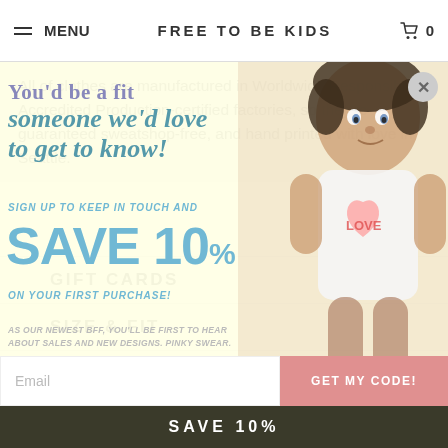MENU  FREE TO BE KIDS  0
All of clothes are manufactured in Worldwide Responsible Accredited Production-certified factories, so they're guaranteed sweatshop-free, and hand printed with love in Seattle.
GIFT CARDS
SIZE & FIT
SHIPPING
RETURNS
CONTACT
[Figure (screenshot): Popup overlay with child photo. Headline: 'You'd be a fit someone we'd love to get to know!' Subtext: 'SIGN UP TO KEEP IN TOUCH AND SAVE 10% ON YOUR FIRST PURCHASE!' and 'AS OUR NEWEST BFF, YOU'LL BE FIRST TO HEAR ABOUT SALES AND NEW DESIGNS. PINKY SWEAR.' Email input field and GET MY CODE! button. Close X button.]
SAVE 10%